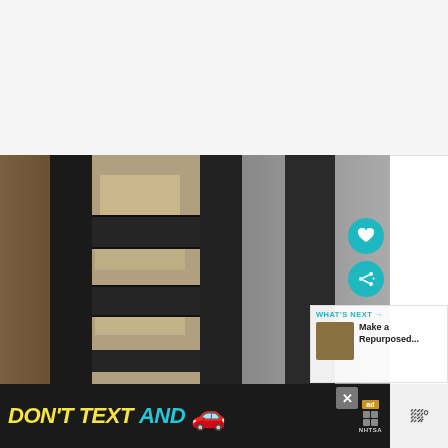[Figure (photo): Webpage screenshot showing top white/gray blank area, below it a photo of a dark-painted wooden chair back with ladder-style slats, photographed in front of shelving units with various containers and items. UI overlays include a teal heart button, a teal share button, and a 'WHAT'S NEXT' panel showing 'Make a Repurposed...']
WHAT'S NEXT → Make a Repurposed...
[Figure (photo): Advertisement banner: 'DON'T TEXT AND' with a red car emoji, ad logo, NHTSA logo and a close button (X). Right side shows weather widget area.]